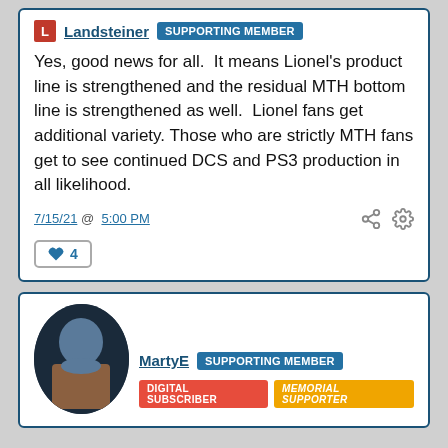L Landsteiner SUPPORTING MEMBER
Yes, good news for all.  It means Lionel's product line is strengthened and the residual MTH bottom line is strengthened as well.  Lionel fans get additional variety. Those who are strictly MTH fans get to see continued DCS and PS3 production in all likelihood.
7/15/21 @ 5:00 PM
♥ 4
MartyE SUPPORTING MEMBER
DIGITAL SUBSCRIBER  MEMORIAL SUPPORTER